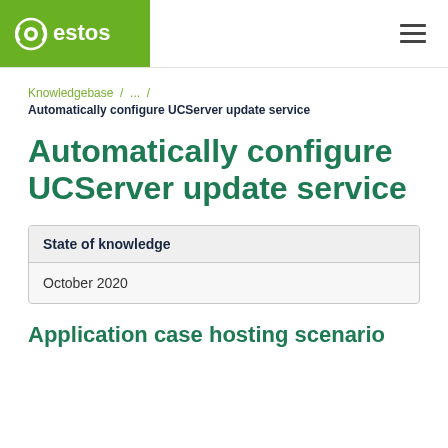estos
Knowledgebase / ... /
Automatically configure UCServer update service
Automatically configure UCServer update service
| State of knowledge |
| --- |
| October 2020 |
Application case hosting scenario